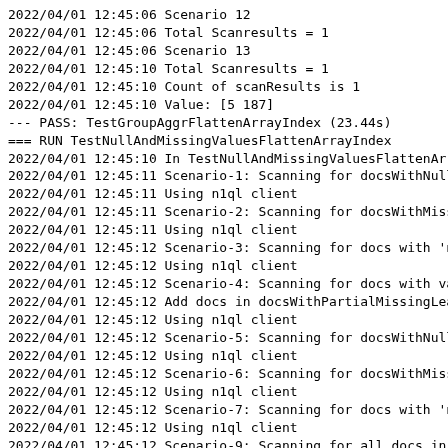2022/04/01 12:45:06 Scenario 12
2022/04/01 12:45:06 Total Scanresults = 1
2022/04/01 12:45:06 Scenario 13
2022/04/01 12:45:10 Total Scanresults = 1
2022/04/01 12:45:10 Count of scanResults is 1
2022/04/01 12:45:10 Value: [5 187]
--- PASS: TestGroupAggrFlattenArrayIndex (23.44s)
=== RUN   TestNullAndMissingValuesFlattenArrayIndex
2022/04/01 12:45:10 In TestNullAndMissingValuesFlattenArr
2022/04/01 12:45:11 Scenario-1: Scanning for docsWithNull
2022/04/01 12:45:11 Using n1ql client
2022/04/01 12:45:11 Scenario-2: Scanning for docsWithMiss
2022/04/01 12:45:11 Using n1ql client
2022/04/01 12:45:12 Scenario-3: Scanning for docs with 'n
2022/04/01 12:45:12 Using n1ql client
2022/04/01 12:45:12 Scenario-4: Scanning for docs with va
2022/04/01 12:45:12 Add docs in docsWithPartialMissingLea
2022/04/01 12:45:12 Using n1ql client
2022/04/01 12:45:12 Scenario-5: Scanning for docsWithNull
2022/04/01 12:45:12 Using n1ql client
2022/04/01 12:45:12 Scenario-6: Scanning for docsWithMiss
2022/04/01 12:45:12 Using n1ql client
2022/04/01 12:45:12 Scenario-7: Scanning for docs with 'n
2022/04/01 12:45:12 Using n1ql client
2022/04/01 12:45:12 Scenario-9: Scanning for all docs in
2022/04/01 12:45:12 Docs in docsWithCompleteMissingLeadin
2022/04/01 12:45:12 Using n1ql client
2022/04/01 12:45:12 Scenario-9: Scanning for docs with va
2022/04/01 12:45:12 Add docs in docsWithPartialMissingLea
2022/04/01 12:45:12 Using n1ql client